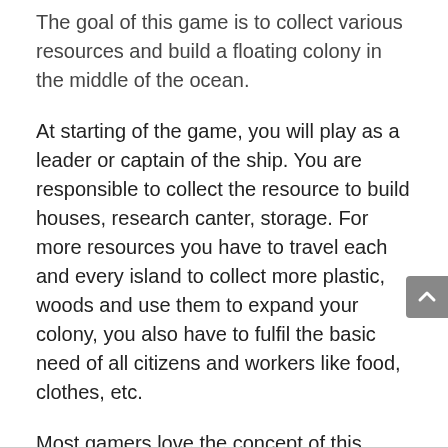The goal of this game is to collect various resources and build a floating colony in the middle of the ocean.
At starting of the game, you will play as a leader or captain of the ship. You are responsible to collect the resource to build houses, research canter, storage. For more resources you have to travel each and every island to collect more plastic, woods and use them to expand your colony, you also have to fulfil the basic need of all citizens and workers like food, clothes, etc.
Most gamers love the concept of this game, you will build a floating kingdom in the middle of the ocean, which can travel from one place to another place. It sounds interesting, right?